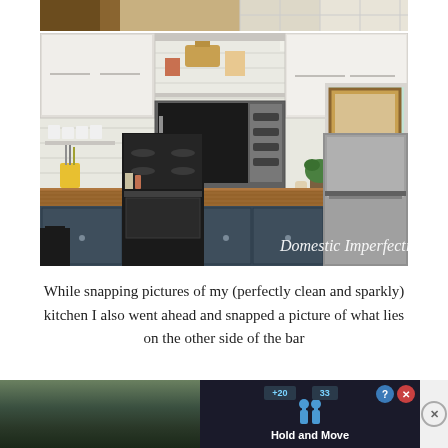[Figure (photo): Top strip of a kitchen photo showing wooden cabinets and ceiling tiles]
[Figure (photo): Kitchen renovation photo showing white upper cabinets with open shelving, dark navy lower cabinets, butcher block countertops, stainless steel appliances (microwave, stove, dishwasher), shiplap walls, and a pass-through window. Watermark reads 'Domestic Imperfection' in bottom right corner.]
While snapping pictures of my (perfectly clean and sparkly) kitchen I also went ahead and snapped a picture of what lies on the other side of the bar
[Figure (screenshot): Advertisement banner for 'Hold and Move' game app showing game score display (+20, 33), figure icons, and outdoor winter scenery background. Controls include question mark and X buttons, plus a separate X dismiss button.]